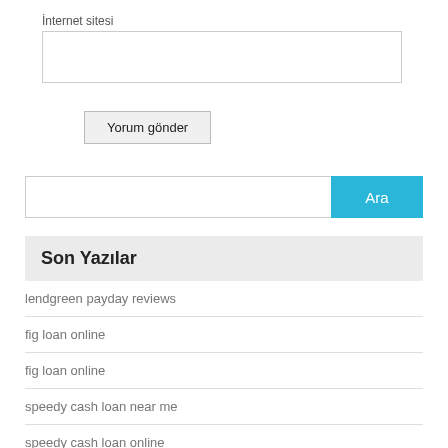İnternet sitesi
Yorum gönder
Ara
Son Yazılar
lendgreen payday reviews
fig loan online
fig loan online
speedy cash loan near me
speedy cash loan online